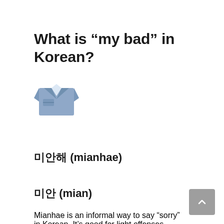What is “my bad” in Korean?
[Figure (illustration): A blue/grey shirt icon representing Korean language learning content]
미안해 (mianhae)
미안 (mian)
Mianhae is an informal way to say “sorry” in Korean. It’s good for light offenses among